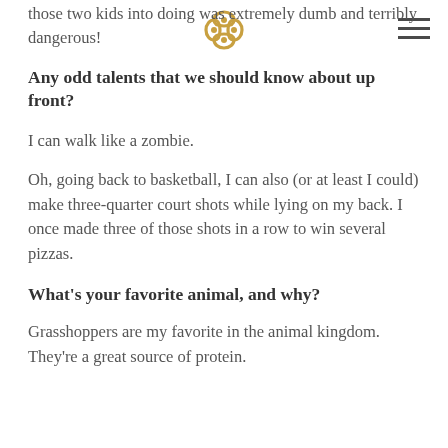those two kids into doing was extremely dumb and terribly dangerous!
[Figure (logo): Gold ornamental knot/infinity logo symbol]
Any odd talents that we should know about up front?
I can walk like a zombie.
Oh, going back to basketball, I can also (or at least I could) make three-quarter court shots while lying on my back. I once made three of those shots in a row to win several pizzas.
What's your favorite animal, and why?
Grasshoppers are my favorite in the animal kingdom. They're a great source of protein.